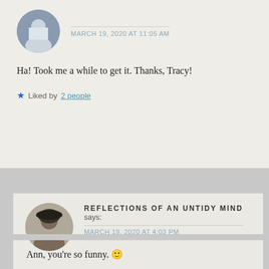Ha! Took me a while to get it. Thanks, Tracy!
Liked by 2 people
REFLECTIONS OF AN UNTIDY MIND says:
MARCH 19, 2020 AT 4:03 PM
Ann, you're so funny. 🙂
Liked by 1 person
SID says: